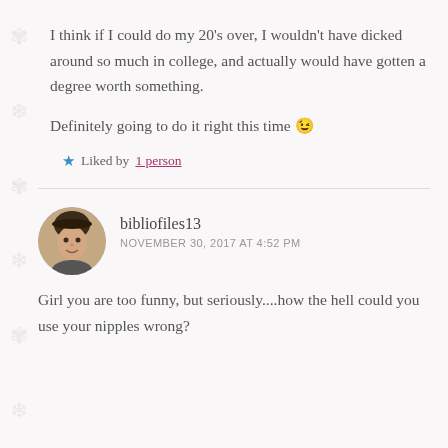I think if I could do my 20's over, I wouldn't have dicked around so much in college, and actually would have gotten a degree worth something.
Definitely going to do it right this time 😉
★ Liked by 1 person
bibliofiles13
NOVEMBER 30, 2017 AT 4:52 PM
Girl you are too funny, but seriously....how the hell could you use your nipples wrong?